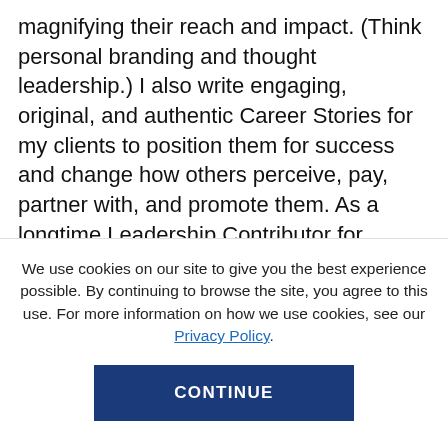magnifying their reach and impact. (Think personal branding and thought leadership.) I also write engaging, original, and authentic Career Stories for my clients to position them for success and change how others perceive, pay, partner with, and promote them. As a longtime Leadership Contributor for Forbes, I cover personal transformation and its impact on career growth. I also regularly create and share original content through my popular Illuminate Me newsletter and active
We use cookies on our site to give you the best experience possible. By continuing to browse the site, you agree to this use. For more information on how we use cookies, see our Privacy Policy.
CONTINUE